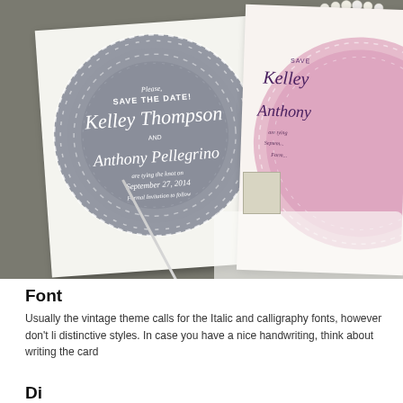[Figure (photo): Photo of handmade wedding save-the-date cards on a doily pattern. A gray doily-style circular card reads 'Please Save the Date! Kelley Thompson and Anthony Pellegrino are tying the knot on September 27, 2014 Formal Invitation to follow'. A pink version of the same card is visible on the right. Art tools including a paintbrush and a tube of blue paint are visible. A pearl necklace and a lace paper doily are also in the scene.]
Font
Usually the vintage theme calls for the Italic and calligraphy fonts, however don't li distinctive styles. In case you have a nice handwriting, think about writing the card
Di...